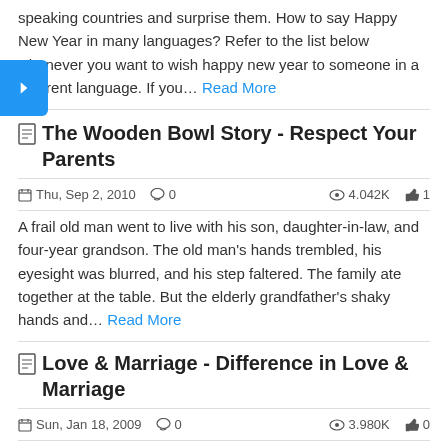speaking countries and surprise them. How to say Happy New Year in many languages? Refer to the list below whenever you want to wish happy new year to someone in a different language. If you... Read More
The Wooden Bowl Story - Respect Your Parents
Thu, Sep 2, 2010   0   4.042K   1
A frail old man went to live with his son, daughter-in-law, and four-year grandson. The old man's hands trembled, his eyesight was blurred, and his step faltered. The family ate together at the table. But the elderly grandfather's shaky hands and... Read More
Love & Marriage - Difference in Love & Marriage
Sun, Jan 18, 2009   0   3.980K   0
A student asks a teacher, "What is love?" The teacher said, "in